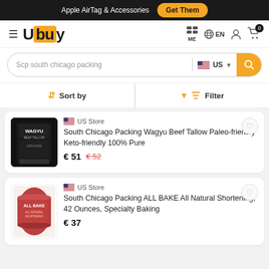Apple AirTag & Accessories  Get Them
[Figure (logo): Ubuy logo with hamburger menu icon]
ME  EN
Scp south chicago packing  US
Sort by  Filter
[Figure (photo): Wagyu Beef Tallow can, black label]
US Store
South Chicago Packing Wagyu Beef Tallow Paleo-friendly Keto-friendly 100% Pure
€ 51  €52
[Figure (photo): ALL BAKE All Natural Shortening can, red label]
US Store
South Chicago Packing ALL BAKE All Natural Shortening, 42 Ounces, Specialty Baking
€ 37